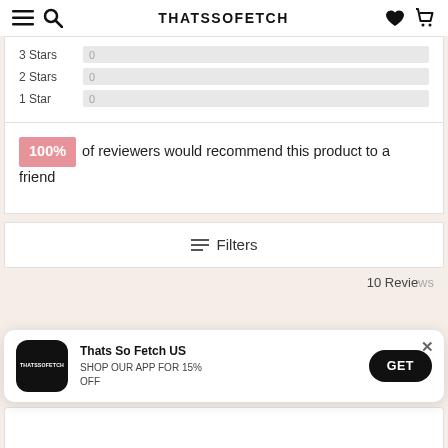THATSSOFETCH
| 3 Stars | 0 |
| 2 Stars | 0 |
| 1 Star | 0 |
100% of reviewers would recommend this product to a friend
Filters
10 Reviews
Thats So Fetch US
SHOP OUR APP FOR 15% OFF
GET